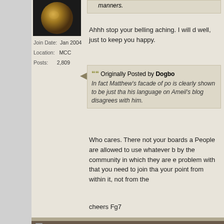[Figure (photo): Forum user avatar showing a golden/brown textured spherical object]
Join Date: Jan 2004
Location: MCC
Posts: 2,809
Ahhh stop your belling aching. I will do well, just to keep you happy.
Originally Posted by Dogbo
In fact Matthew's facade of po is clearly shown to be just tha his language on Ameil's blog disagrees with him.
Who cares. There not your boards a People are allowed to use whatever by the community in which they are e problem with that you need to join th your point from within it, not from the
cheers Fg7
04-01-2007, 03:40 PM
antichrist
Originally Posted by firego